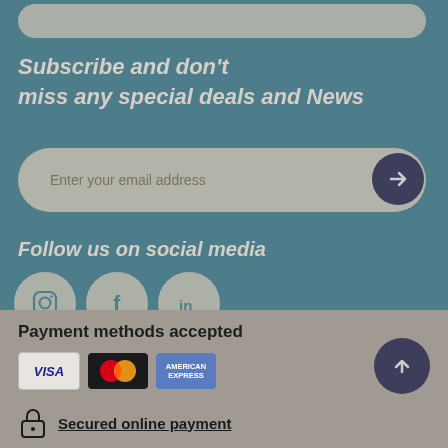Subscribe and don't miss any special deals and News
Enter your email address
Follow us on social media
[Figure (infographic): Three social media icons: Instagram, Facebook, LinkedIn in circular badges]
Payment methods accepted
[Figure (infographic): Payment method logos: VISA, Mastercard, American Express]
Secured online payment